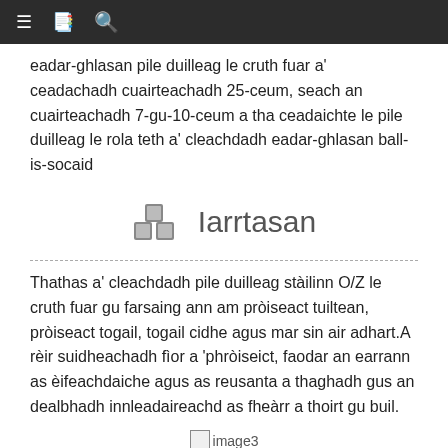≡  📋  🔍
eadar-ghlasan pile duilleag le cruth fuar a' ceadachadh cuairteachadh 25-ceum, seach an cuairteachadh 7-gu-10-ceum a tha ceadaichte le pile duilleag le rola teth a' cleachdadh eadar-ghlasan ball-is-socaid
Iarrtasan
Thathas a' cleachdadh pile duilleag stàilinn O/Z le cruth fuar gu farsaing ann am pròiseact tuiltean, pròiseact togail, togail cidhe agus mar sin air adhart.A rèir suidheachadh fìor a 'phròiseict, faodar an earrann as èifeachdaiche agus as reusanta a thaghadh gus an dealbhadh innleadaireachd as fheàrr a thoirt gu buil.
[Figure (illustration): image3 placeholder with small broken image icon]
image3
image4